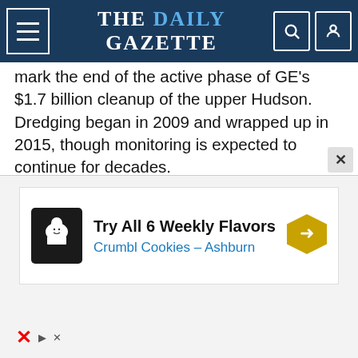THE DAILY GAZETTE
mark the end of the active phase of GE's $1.7 billion cleanup of the upper Hudson. Dredging began in 2009 and wrapped up in 2015, though monitoring is expected to continue for decades.
The two Democratic senators noted that state officials, and a Department of Environmental Conservation report issued in December, found significant PCBs remain in the river, even though GE dredged 2.75 million cubic yards from concentrated spots between Hudson Falls and Troy.
[Figure (other): Advertisement: Try All 6 Weekly Flavors - Crumbl Cookies - Ashburn with chef logo and directional arrow icon]